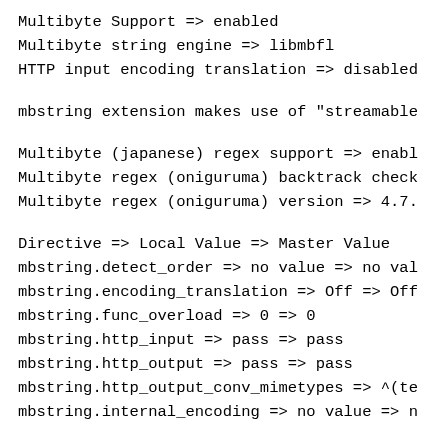Multibyte Support => enabled
Multibyte string engine => libmbfl
HTTP input encoding translation => disabled
mbstring extension makes use of "streamable
Multibyte (japanese) regex support => enabl
Multibyte regex (oniguruma) backtrack check
Multibyte regex (oniguruma) version => 4.7.
Directive => Local Value => Master Value
mbstring.detect_order => no value => no val
mbstring.encoding_translation => Off => Off
mbstring.func_overload => 0 => 0
mbstring.http_input => pass => pass
mbstring.http_output => pass => pass
mbstring.http_output_conv_mimetypes => ^(te
mbstring.internal_encoding => no value => n